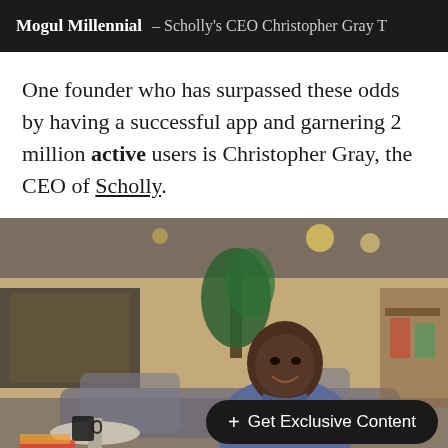Mogul Millennial – Scholly's CEO Christopher Gray T
One founder who has surpassed these odds by having a successful app and garnering 2 million active users is Christopher Gray, the CEO of Scholly.
[Figure (photo): Photo of Christopher Gray, CEO of Scholly, sitting and smiling in a modern office/lounge setting with plants, furniture, and warm lighting in the background. A dark pill-shaped button overlay reads '+ Get Exclusive Content'.]